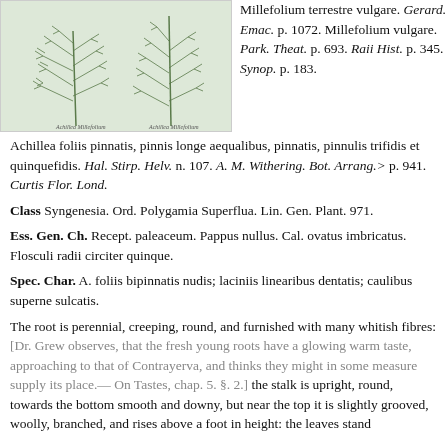[Figure (illustration): Botanical illustration of a plant with feathery pinnate leaves on two stems, rendered in green tones on a light background.]
Millefolium terrestre vulgare. Gerard. Emac. p. 1072. Millefolium vulgare. Park. Theat. p. 693. Raii Hist. p. 345. Synop. p. 183.
Achillea foliis pinnatis, pinnis longe aequalibus, pinnatis, pinnulis trifidis et quinquefidis. Hal. Stirp. Helv. n. 107. A. M. Withering. Bot. Arrang.> p. 941. Curtis Flor. Lond.
Class Syngenesia. Ord. Polygamia Superflua. Lin. Gen. Plant. 971.
Ess. Gen. Ch. Recept. paleaceum. Pappus nullus. Cal. ovatus imbricatus. Flosculi radii circiter quinque.
Spec. Char. A. foliis bipinnatis nudis; laciniis linearibus dentatis; caulibus superne sulcatis.
The root is perennial, creeping, round, and furnished with many whitish fibres: [Dr. Grew observes, that the fresh young roots have a glowing warm taste, approaching to that of Contrayerva, and thinks they might in some measure supply its place.— On Tastes, chap. 5. §. 2.] the stalk is upright, round, towards the bottom smooth and downy, but near the top it is slightly grooved, woolly, branched, and rises above a foot in height: the leaves stand